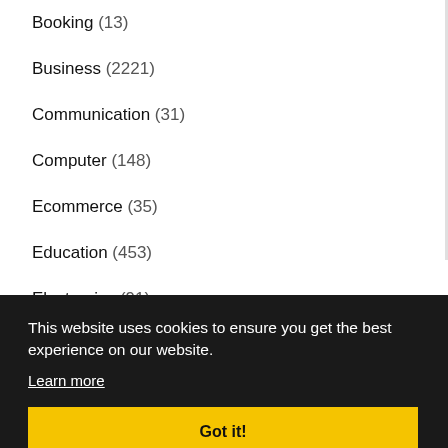Booking (13)
Business (2221)
Communication (31)
Computer (148)
Ecommerce (35)
Education (453)
Electronics (91)
Energy (6)
This website uses cookies to ensure you get the best experience on our website.
Learn more
Got it!
Home  Submit  Privacy  Contact  Conditions